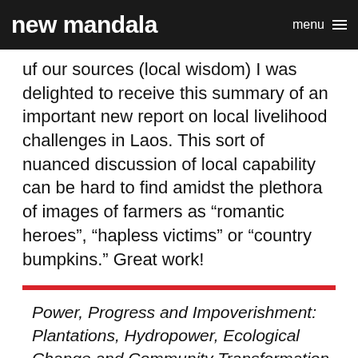new mandala   menu
uf our sources (local wisdom) I was delighted to receive this summary of an important new report on local livelihood challenges in Laos. This sort of nuanced discussion of local capability can be hard to find amidst the plethora of images of farmers as “romantic heroes”, “hapless victims” or “country bumpkins.” Great work!
Power, Progress and Impoverishment: Plantations, Hydropower, Ecological Change and Community Transformation in Hinboun District, Lao PDR by Keith Barney. [Available here.]
How are the ecosystem changes resulting